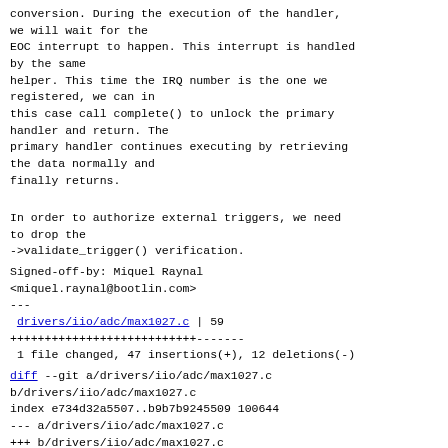conversion. During the execution of the handler,
we will wait for the
EOC interrupt to happen. This interrupt is handled
by the same
helper. This time the IRQ number is the one we
registered, we can in
this case call complete() to unlock the primary
handler and return. The
primary handler continues executing by retrieving
the data normally and
finally returns.
In order to authorize external triggers, we need
to drop the
->validate_trigger() verification.
Signed-off-by: Miquel Raynal
<miquel.raynal@bootlin.com>
---
 drivers/iio/adc/max1027.c | 59
+++++++++++++++++++++++++++-------
 1 file changed, 47 insertions(+), 12 deletions(-)
diff --git a/drivers/iio/adc/max1027.c
b/drivers/iio/adc/max1027.c
index e734d32a5507..b9b7b9245509 100644
--- a/drivers/iio/adc/max1027.c
+++ b/drivers/iio/adc/max1027.c
@@ -414,17 +414,6 @@ static int
max1027_debugfs_reg_access(struct iio_dev